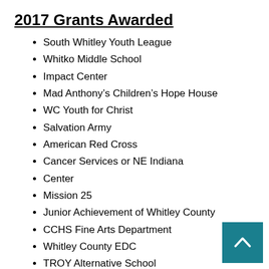2017 Grants Awarded
South Whitley Youth League
Whitko Middle School
Impact Center
Mad Anthony's Children's Hope House
WC Youth for Christ
Salvation Army
American Red Cross
Cancer Services or NE Indiana
Center
Mission 25
Junior Achievement of Whitley County
CCHS Fine Arts Department
Whitley County EDC
TROY Alternative School